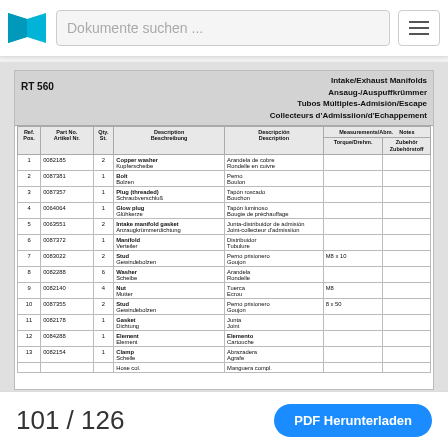Dokumente suchen ...
RT 560  Intake/Exhaust Manifolds / Ansaug-/Auspuffkrümmer / Tubos Múltiples-Admisión/Escape / Collecteurs d'Admissiion/d'Echappement
| Ref. Pos. | Part No. / Artikel Nr. | Qty. St. | Description / Beschreibung | Descripción / Description | Measurements/Abm. | Notes / Zubehör / Zubehörstoff |
| --- | --- | --- | --- | --- | --- | --- |
| 1 | 0082185 | 2 | Copper washer / Kupferscheibe | Arandela de cobre / Rondelle en cuivre |  |  |
| 2 | 0087381 | 1 | Bolt / Bolzen | Perno / Boulon |  |  |
| 3 | 0087357 | 1 | Plug (threaded) / Schraubverschluß | Tapón roscado / Bouchon |  |  |
| 4 | 0064064 | 1 | Glow plug / Glühkerze | Tapón luminoso / Bougie de préchauffage |  |  |
| 5 | 0063551 | 2 | Intake manifold gasket / Anzaugkrümmerdichtung | Junta-distribuidor de admisión / Joint-collecteur d'admissiion |  |  |
| 6 | 0087372 | 1 | Manifold / Verteiler | Distribuidor / Tubulure |  |  |
| 7 | 0083022 | 2 | Stud / Gewindebolzen | Perno prisionero / Goujon | M8 x 10 |  |
| 8 | 0082288 | 6 | Washer / Scheibe | Arandela / Rondelle |  |  |
| 9 | 0082140 | 4 | Nut / Mutter | Tuerca / Ecrou | M8 |  |
| 10 | 0087355 | 2 | Stud / Gewindebolzen | Perno prisionero / Goujon | 8 x 50 |  |
| 11 | 0082178 | 1 | Gasket / Dichtung | Junta / Joint |  |  |
| 12 | 0084288 | 1 | Element / Element | Elemento / Cartouche |  |  |
| 13 | 0082154 | 1 | Clamp / Schelle | Abrazadera / Agrafe |  |  |
|  |  |  | Hose col. | Manguera compl. |  |  |
101 / 126  PDF Herunterladen